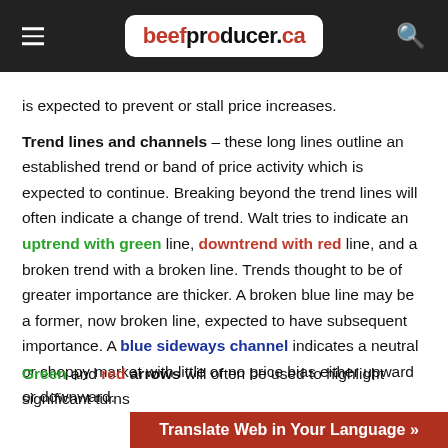beefproducer.ca
is expected to prevent or stall price increases.
Trend lines and channels – these long lines outline an established trend or band of price activity which is expected to continue. Breaking beyond the trend lines will often indicate a change of trend. Walt tries to indicate an uptrend with green line, downtrend with red line, and a broken trend with a broken line. Trends thought to be of greater importance are thicker. A broken blue line may be a former, now broken line, expected to have subsequent importance. A blue sideways channel indicates a neutral or choppy market with little or no price bias either upward or downward.
Green and red arrows will often be used to highlight significant turns
Translate Web in Your Language »